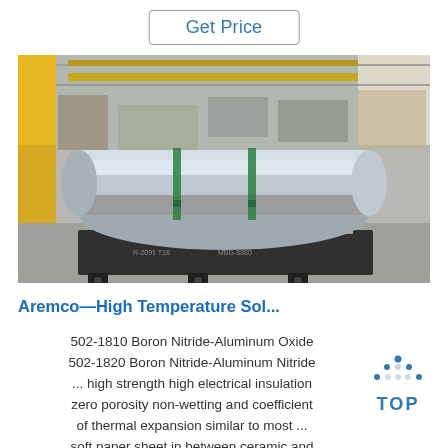Get Price
[Figure (photo): Large industrial aluminum or metal cylinder/roll on a wooden pallet in a factory/warehouse setting with yellow cranes overhead]
Aremco—High Temperature Sol...
502-1810 Boron Nitride-Aluminum Oxide 502-1820 Boron Nitride-Aluminum Nitride ... high strength high electrical insulation zero porosity non-wetting and coefficient of thermal expansion similar to most ... soft paper sheet in between ceramic and
[Figure (logo): TOP logo with blue dots arranged in a triangle above the word TOP in blue letters]